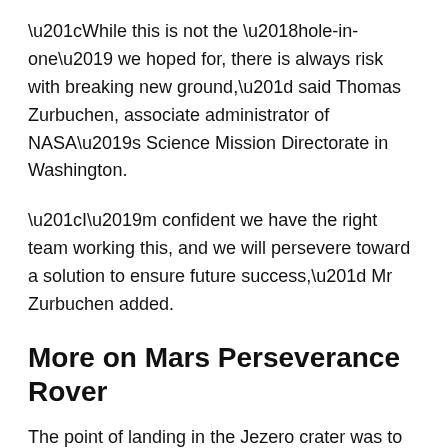“While this is not the ‘hole-in-one’ we hoped for, there is always risk with breaking new ground,” said Thomas Zurbuchen, associate administrator of NASA’s Science Mission Directorate in Washington.
“I’m confident we have the right team working this, and we will persevere toward a solution to ensure future success,” Mr Zurbuchen added.
More on Mars Perseverance Rover
The point of landing in the Jezero crater was to drill deep down into the sediment of where an ancient river once flowed to check for the remnants of microbial life.
The carefully selected samples of Martian rock and soil wouldn’t be analysed immediately but instead the rover will